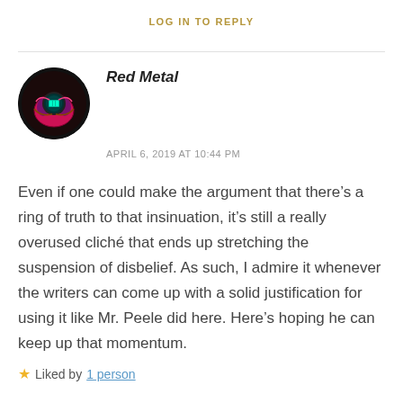LOG IN TO REPLY
Red Metal
APRIL 6, 2019 AT 10:44 PM
Even if one could make the argument that there’s a ring of truth to that insinuation, it’s still a really overused cliché that ends up stretching the suspension of disbelief. As such, I admire it whenever the writers can come up with a solid justification for using it like Mr. Peele did here. Here’s hoping he can keep up that momentum.
★ Liked by 1 person